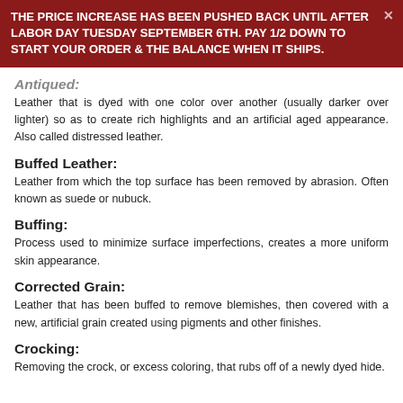THE PRICE INCREASE HAS BEEN PUSHED BACK UNTIL AFTER LABOR DAY TUESDAY SEPTEMBER 6TH. PAY 1/2 DOWN TO START YOUR ORDER & THE BALANCE WHEN IT SHIPS.
Antiqued:
Leather that is dyed with one color over another (usually darker over lighter) so as to create rich highlights and an artificial aged appearance. Also called distressed leather.
Buffed Leather:
Leather from which the top surface has been removed by abrasion. Often known as suede or nubuck.
Buffing:
Process used to minimize surface imperfections, creates a more uniform skin appearance.
Corrected Grain:
Leather that has been buffed to remove blemishes, then covered with a new, artificial grain created using pigments and other finishes.
Crocking:
Removing the crock, or excess coloring, that rubs off of a newly dyed hide.